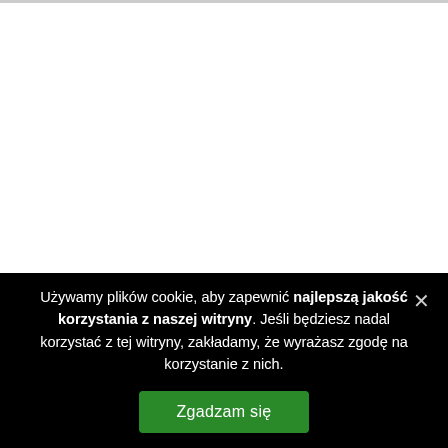Używamy plików cookie, aby zapewnić najlepszą jakość korzystania z naszej witryny. Jeśli będziesz nadal korzystać z tej witryny, zakładamy, że wyrażasz zgodę na korzystanie z nich.
Zgadzam się